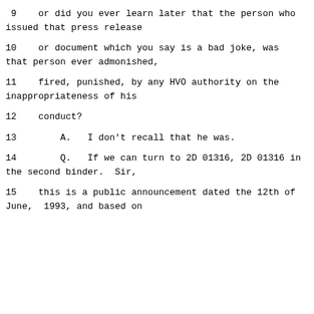9    or did you ever learn later that the person who issued that press release
10    or document which you say is a bad joke, was that person ever admonished,
11    fired, punished, by any HVO authority on the inappropriateness of his
12    conduct?
13        A.   I don't recall that he was.
14        Q.   If we can turn to 2D 01316, 2D 01316 in the second binder.  Sir,
15    this is a public announcement dated the 12th of June,  1993, and based on